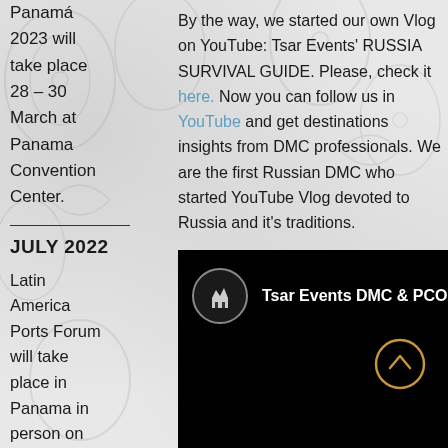Panamá 2023 will take place 28 – 30 March at Panama Convention Center.
JULY 2022
Latin America Ports Forum will take place in Panama in person on September
By the way, we started our own Vlog on YouTube:  Tsar Events' RUSSIA SURVIVAL GUIDE. Please, check it here. Now you can follow us in YouTube and get destinations insights from DMC professionals.  We are the first Russian DMC who started YouTube Vlog devoted to Russia and it's traditions.
[Figure (screenshot): Video thumbnail showing Tsar Events DMC & PCO' RUSSIA YouTube channel with logo icon on black background and a golden circle arrow button]